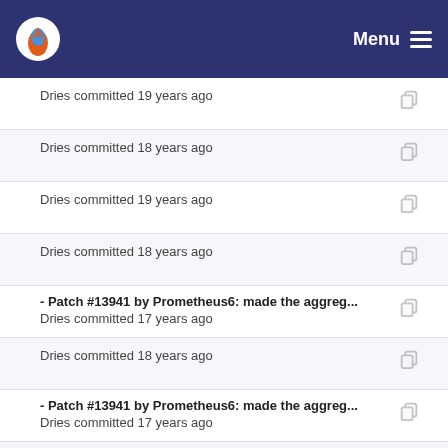Menu
Dries committed 19 years ago
Dries committed 18 years ago
Dries committed 19 years ago
Dries committed 18 years ago
- Patch #13941 by Prometheus6: made the aggreg...
Dries committed 17 years ago
Dries committed 18 years ago
- Patch #13941 by Prometheus6: made the aggreg...
Dries committed 17 years ago